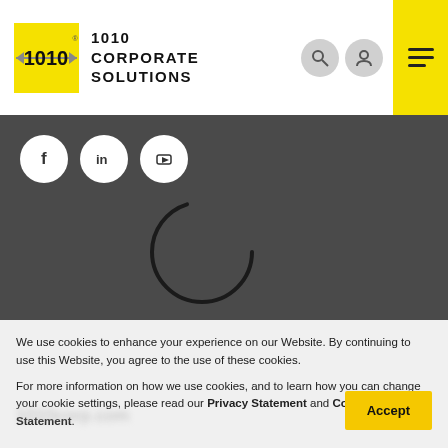1010 Corporate Solutions
[Figure (logo): 1010 Corporate Solutions logo with yellow background and arrow graphic, company name in uppercase]
Social media icons: Facebook, LinkedIn, YouTube
Website Terms of Use | Privacy Statement | Acceptable Use Policies | Fair Usage Policy | Non-discrimination and Non-harassment Statement | Terms & Conditions | Special Conditions | Customer Service | Regulatory Notices |
We use cookies to enhance your experience on our Website. By continuing to use this Website, you agree to the use of these cookies.
For more information on how we use cookies, and to learn how you can change your cookie settings, please read our Privacy Statement and Cookie Statement.